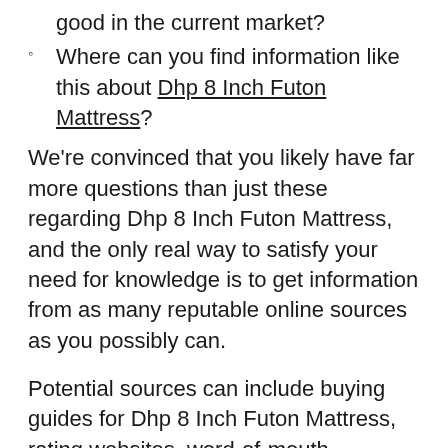good in the current market?
Where can you find information like this about Dhp 8 Inch Futon Mattress?
We're convinced that you likely have far more questions than just these regarding Dhp 8 Inch Futon Mattress, and the only real way to satisfy your need for knowledge is to get information from as many reputable online sources as you possibly can.
Potential sources can include buying guides for Dhp 8 Inch Futon Mattress, rating websites, word-of-mouth testimonials, online forums, and product reviews.